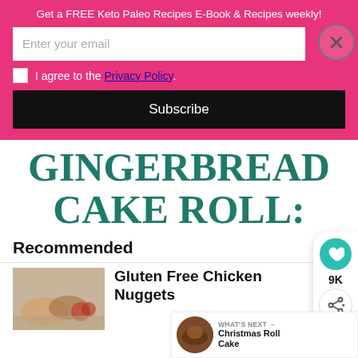Get a FREE Keto Paleo Recipes E-Book & Recipes weekly!
Enter your email
I agree to the Privacy Policy.
Subscribe
GINGERBREAD CAKE ROLL:
Recommended
Gluten Free Chicken Nuggets
WHAT'S NEXT → Christmas Roll Cake